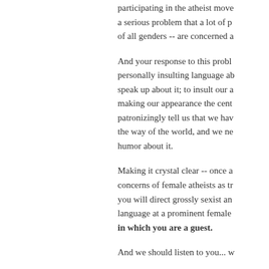participating in the atheist move a serious problem that a lot of p of all genders -- are concerned a
And your response to this probl personally insulting language ab speak up about it; to insult our a making our appearance the cent patronizingly tell us that we hav the way of the world, and we ne humor about it.
Making it crystal clear -- once a concerns of female atheists as tr you will direct grossly sexist an language at a prominent female in which you are a guest.
And we should listen to you... w